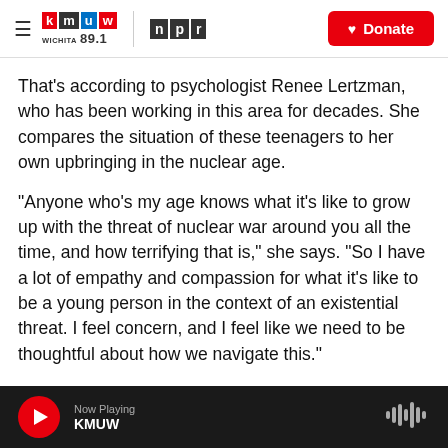KMUW WICHITA 89.1 | NPR | Donate
That's according to psychologist Renee Lertzman, who has been working in this area for decades. She compares the situation of these teenagers to her own upbringing in the nuclear age.
"Anyone who's my age knows what it's like to grow up with the threat of nuclear war around you all the time, and how terrifying that is," she says. "So I have a lot of empathy and compassion for what it's like to be a young person in the context of an existential threat. I feel concern, and I feel like we need to be thoughtful about how we navigate this."
Now Playing KMUW